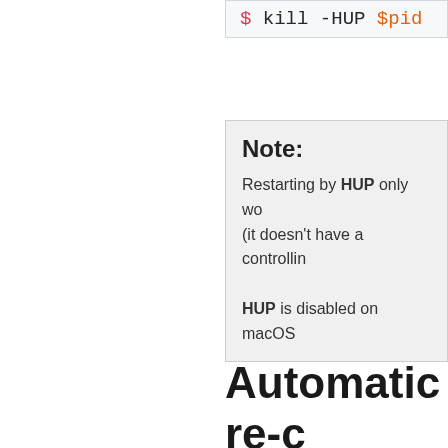$ kill -HUP $pid
Note:
Restarting by HUP only wo... (it doesn't have a controllin...
HUP is disabled on macOS
Automatic re-c... broker
New in version 5.3.
Unless b... ct... automatically retry reconne... broker_connection_re...